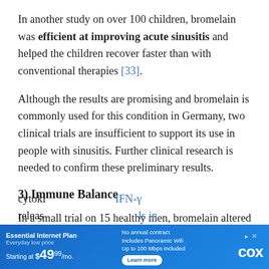In another study on over 100 children, bromelain was efficient at improving acute sinusitis and helped the children recover faster than with conventional therapies [33].
Although the results are promising and bromelain is commonly used for this condition in Germany, two clinical trials are insufficient to support its use in people with sinusitis. Further clinical research is needed to confirm these preliminary results.
3) Immune Balance
In a small trial on 15 healthy men, bromelain altered the circadian profile of both Th1 (IFN-γ) and Th2 (IL-5) cytoki... IFN-γ releas... ls in